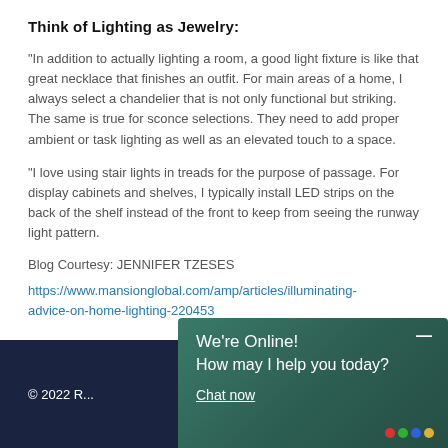Think of Lighting as Jewelry:
“In addition to actually lighting a room, a good light fixture is like that great necklace that finishes an outfit. For main areas of a home, I always select a chandelier that is not only functional but striking. The same is true for sconce selections. They need to add proper ambient or task lighting as well as an elevated touch to a space.
“I love using stair lights in treads for the purpose of passage. For display cabinets and shelves, I typically install LED strips on the back of the shelf instead of the front to keep from seeing the runway light pattern.
Blog Courtesy: JENNIFER TZESES
https://www.mansionglobal.com/amp/articles/illuminating-advice-on-home-lighting-220453
© 2022 R...
[Figure (other): Live chat widget overlay showing 'We're Online! How may I help you today? Chat now' on a dark teal/green background with a minimize button and colored dots logo.]